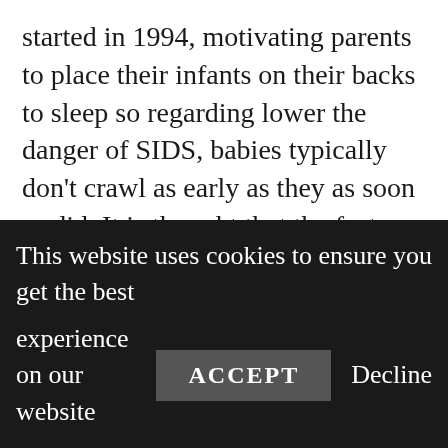started in 1994, motivating parents to place their infants on their backs to sleep so regarding lower the danger of SIDS, babies typically don't crawl as early as they as soon as did. It is thought that the factor for this is that some children invest very little time on their tummies. It is this stomach time that helps to motivate creeping so it is very important to offer your baby as much time on their tummies as possible.
Some children, due to inadequate belly time, avoid creeping completely. They rather will start to draw themselves up, as their toughness allows,
This website uses cookies to ensure you get the best experience on our website